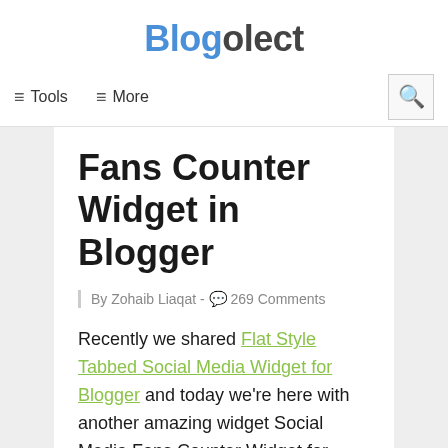Blogolect
≡ Tools   ≡ More
Fans Counter Widget in Blogger
By Zohaib Liaqat -  269 Comments
Recently we shared Flat Style Tabbed Social Media Widget for Blogger and today we're here with another amazing widget Social Media Fans Counter Widget for